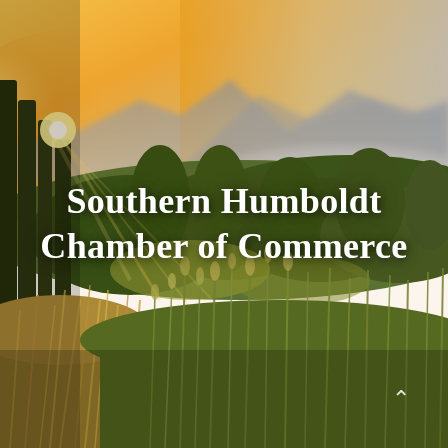[Figure (photo): Scenic landscape photo of Southern Humboldt at golden hour/sunset. Rolling hills covered with green and golden grass in the foreground, dense mixed forest of oak and conifer trees in the middle ground, misty mountains and mountain ridgelines in the background, warm golden-orange sky with sun breaking through trees on the left side.]
Southern Humboldt Chamber of Commerce